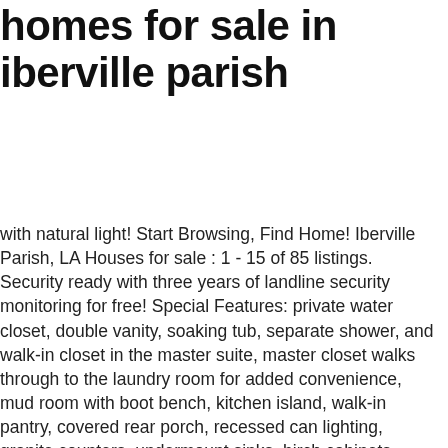homes for sale in iberville parish
with natural light! Start Browsing, Find Home! Iberville Parish, LA Houses for sale : 1 - 15 of 85 listings. Security ready with three years of landline security monitoring for free! Special Features: private water closet, double vanity, soaking tub, separate shower, and walk-in closet in the master suite, master closet walks through to the laundry room for added convenience, mud room with boot bench, kitchen island, walk-in pantry, covered rear porch, recessed can lighting, granite counters, undermount sinks, birch cabinets throughout, The FLEETWOOD II A in Meadow Oaks community offers a 4 bedroom, 3 full bathroom, open design. With MHVillage, its easy to stay up to date with the latest mobile home listings in Iberville County. The Builder describes this home as: "- Open Floor Plan - Three Bedrooms, Two Bathrooms - Two Car Garage - Brick & Siding Exterior - Covered Patio - Double Master Vanity - Garden Master Tub - Separate Master Shower - Walk-In Master Closet". Search Iberville Parish, LA homes for sale, real estate, and MLS Listings. Throughout Iberville Parish County, LA, there are more than 0 pre-foreclosure listings. Redfin is redefining real estate and the home buying